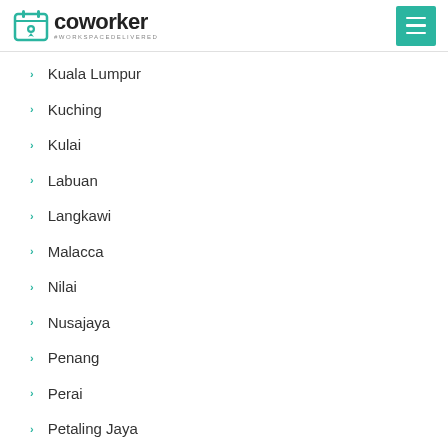coworker — #WORKSPACE DELIVERED
Kuala Lumpur
Kuching
Kulai
Labuan
Langkawi
Malacca
Nilai
Nusajaya
Penang
Perai
Petaling Jaya
Port Klang
Puchong
Puncak Alam
Putrajaya